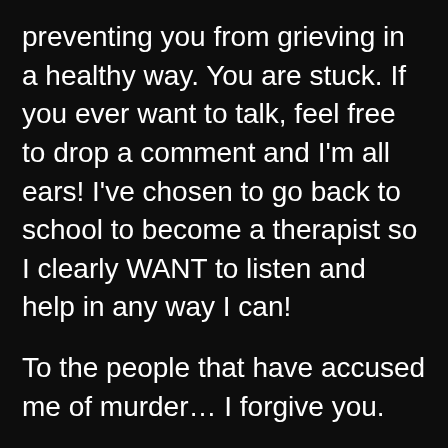preventing you from grieving in a healthy way. You are stuck. If you ever want to talk, feel free to drop a comment and I'm all ears! I've chosen to go back to school to become a therapist so I clearly WANT to listen and help in any way I can!
To the people that have accused me of murder… I forgive you.